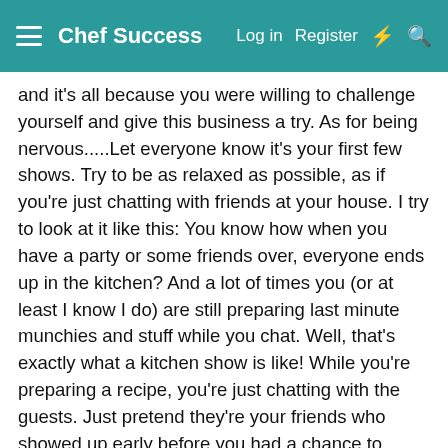Chef Success   Log in   Register
and it's all because you were willing to challenge yourself and give this business a try. As for being nervous.....Let everyone know it's your first few shows. Try to be as relaxed as possible, as if you're just chatting with friends at your house. I try to look at it like this: You know how when you have a party or some friends over, everyone ends up in the kitchen? And a lot of times you (or at least I know I do) are still preparing last minute munchies and stuff while you chat. Well, that's exactly what a kitchen show is like! While you're preparing a recipe, you're just chatting with the guests. Just pretend they're your friends who showed up early before you had a chance to finish everything up. Make it relaxed and tell people it's pretty informal and they can shout out questions as they have them. If you mess something up, it's no big deal at all! Just make some joke out of it and roll with